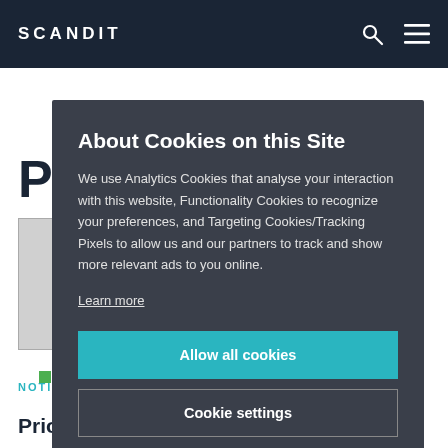SCANDIT
About Cookies on this Site
We use Analytics Cookies that analyse your interaction with this website, Functionality Cookies to recognize your preferences, and Targeting Cookies/Tracking Pixels to allow us and our partners to track and show more relevant ads to you online.
Learn more
Allow all cookies
Cookie settings
Deny all
NOTIZIE
Priorità tecnologiche, potenzialità e